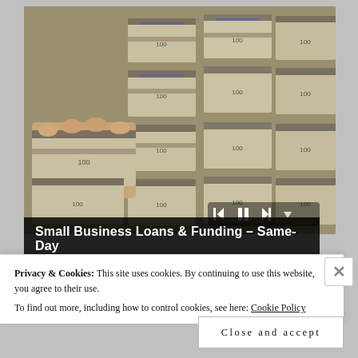[Figure (photo): Stacks of bundled US $100 dollar bills arranged in rows, with a person's hands holding a bundle in the foreground, displayed as a promotional image for a financial advertisement.]
Small Business Loans & Funding – Same-Day
Privacy & Cookies: This site uses cookies. By continuing to use this website, you agree to their use.
To find out more, including how to control cookies, see here: Cookie Policy
Close and accept